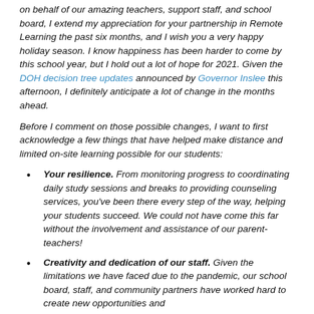on behalf of our amazing teachers, support staff, and school board, I extend my appreciation for your partnership in Remote Learning the past six months, and I wish you a very happy holiday season. I know happiness has been harder to come by this school year, but I hold out a lot of hope for 2021. Given the DOH decision tree updates announced by Governor Inslee this afternoon, I definitely anticipate a lot of change in the months ahead.
Before I comment on those possible changes, I want to first acknowledge a few things that have helped make distance and limited on-site learning possible for our students:
Your resilience. From monitoring progress to coordinating daily study sessions and breaks to providing counseling services, you've been there every step of the way, helping your students succeed. We could not have come this far without the involvement and assistance of our parent-teachers!
Creativity and dedication of our staff. Given the limitations we have faced due to the pandemic, our school board, staff, and community partners have worked hard to create new opportunities and